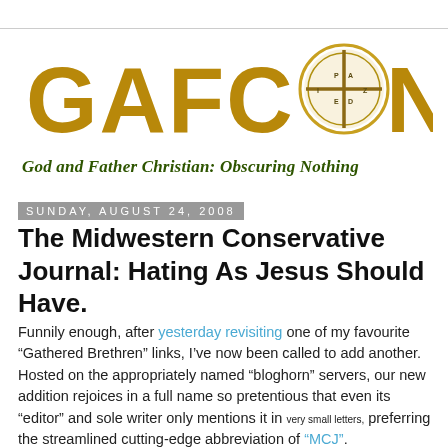[Figure (logo): GAFCON logo with golden stylized lettering and a compass/cross symbol replacing the O, with subtitle 'God and Father Christian: Obscuring Nothing' in dark green italic]
Sunday, August 24, 2008
The Midwestern Conservative Journal: Hating As Jesus Should Have.
Funnily enough, after yesterday revisiting one of my favourite “Gathered Brethren” links, I’ve now been called to add another. Hosted on the appropriately named “bloghorn” servers, our new addition rejoices in a full name so pretentious that even its “editor” and sole writer only mentions it in very small letters, preferring the streamlined cutting-edge abbreviation of “MCJ”.